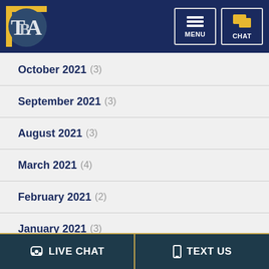TBLA Law Firm - Navigation Header with MENU and CHAT buttons
October 2021 (3)
September 2021 (3)
August 2021 (3)
March 2021 (4)
February 2021 (2)
January 2021 (3)
December 2020 (3)
LIVE CHAT   TEXT US